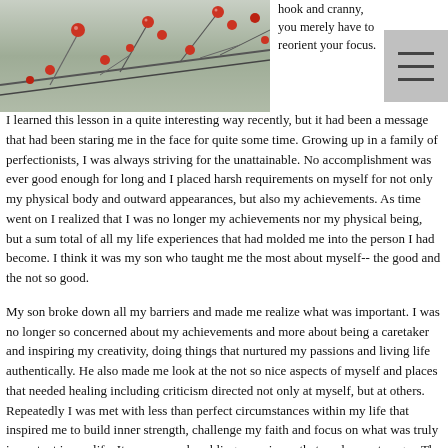[Figure (photo): Photo of red berries on bare winter branches against a grey sky background]
hook and cranny, you merely have to reorient your focus.

I learned this lesson in a quite interesting way recently, but it had been a message that had been staring me in the face for quite some time. Growing up in a family of perfectionists, I was always striving for the unattainable. No accomplishment was ever good enough for long and I placed harsh requirements on myself for not only my physical body and outward appearances, but also my achievements. As time went on I realized that I was no longer my achievements nor my physical being, but a sum total of all my life experiences that had molded me into the person I had become. I think it was my son who taught me the most about myself-- the good and the not so good.
My son broke down all my barriers and made me realize what was important. I was no longer so concerned about my achievements and more about being a caretaker and inspiring my creativity, doing things that nurtured my passions and living life authentically. He also made me look at the not so nice aspects of myself and places that needed healing including criticism directed not only at myself, but at others. Repeatedly I was met with less than perfect circumstances within my life that inspired me to build inner strength, challenge my faith and focus on what was truly important in my life. It was a very humbling experience that made me stronger. The perfect no longer seemed to matter so much. The perfect living space, the perfect gardens, the perfect clothes and physical appearance seemed less and less attainable in my increasingly busy and challenging life. I began to observe and learn from Nature and strive for more balance.